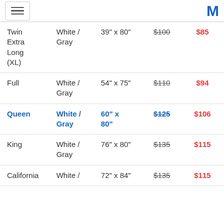[hamburger menu icon] [M logo]
| Size | Color | Dimensions | Original Price | Sale Price |
| --- | --- | --- | --- | --- |
| Twin Extra Long (XL) | White / Gray | 39" x 80" | $100 | $85 |
| Full | White / Gray | 54" x 75" | $110 | $94 |
| Queen | White / Gray | 60" x 80" | $125 | $106 |
| King | White / Gray | 76" x 80" | $135 | $115 |
| California | White / | 72" x 84" | $135 | $115 |